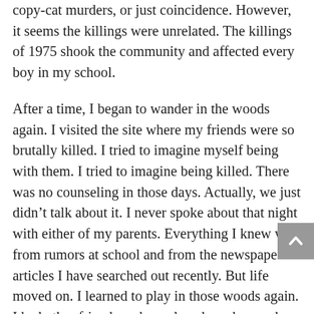copy-cat murders, or just coincidence. However, it seems the killings were unrelated. The killings of 1975 shook the community and affected every boy in my school.
After a time, I began to wander in the woods again. I visited the site where my friends were so brutally killed. I tried to imagine myself being with them. I tried to imagine being killed. There was no counseling in those days. Actually, we just didn't talk about it. I never spoke about that night with either of my parents. Everything I knew was from rumors at school and from the newspaper articles I have searched out recently. But life moved on. I learned to play in those woods again. I had other friends and we played cowboy and Indian in the woods and hunted frogs in the ponds. The memory of Mark and Scott has faded. The facts are obscured by time, but the feelings, deep down, are real to this day. And when I walk in the woods today, I